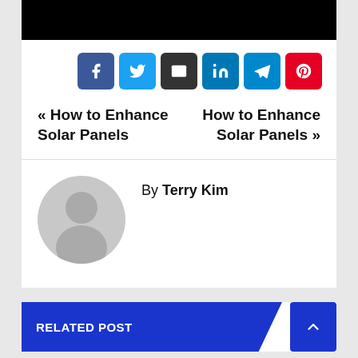[Figure (photo): Black image bar at top of article]
[Figure (infographic): Social share buttons row: Facebook, Twitter, Email, LinkedIn, Telegram, Pinterest]
« How to Enhance Solar Panels   How to Enhance Solar Panels »
By Terry Kim
[Figure (illustration): Grey avatar circle with person silhouette]
RELATED POST